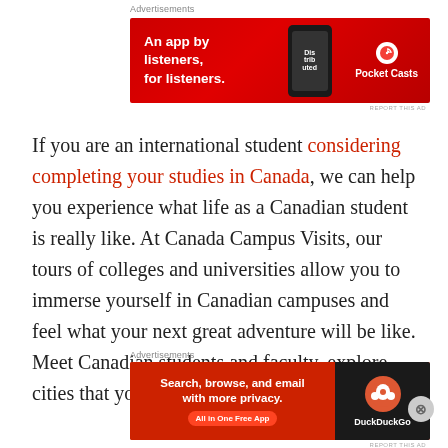Advertisements
[Figure (screenshot): Pocket Casts advertisement banner: red background with white text 'An app by listeners, for listeners.' and Pocket Casts logo on right, phone image in center]
If you are an international student considering completing your studies in Canada, we can help you experience what life as a Canadian student is really like. At Canada Campus Visits, our tours of colleges and universities allow you to immerse yourself in Canadian campuses and feel what your next great adventure will be like. Meet Canadian students and faculty, explore cities that you might soon call home
Advertisements
[Figure (screenshot): DuckDuckGo advertisement banner: red/orange left side with white text 'Search, browse, and email with more privacy. All in One Free App' and dark right side with DuckDuckGo logo]